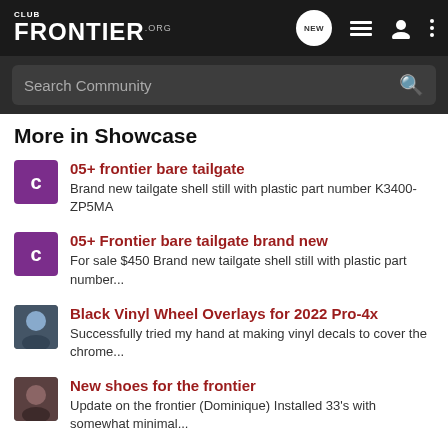CLUB FRONTIER.org
Search Community
More in Showcase
05+ frontier bare tailgate
Brand new tailgate shell still with plastic part number K3400-ZP5MA
05+ Frontier bare tailgate brand new
For sale $450 Brand new tailgate shell still with plastic part number...
Black Vinyl Wheel Overlays for 2022 Pro-4x
Successfully tried my hand at making vinyl decals to cover the chrome...
New shoes for the frontier
Update on the frontier (Dominique) Installed 33's with somewhat minimal...